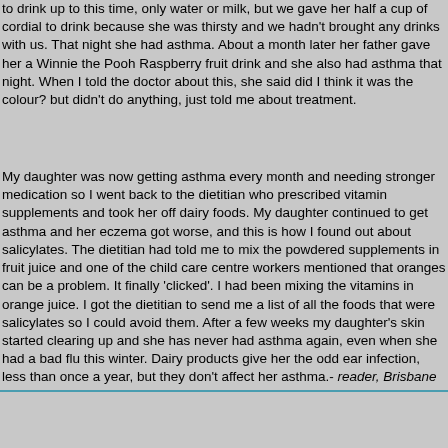to drink up to this time, only water or milk, but we gave her half a cup of cordial to drink because she was thirsty and we hadn't brought any drinks with us. That night she had asthma. About a month later her father gave her a Winnie the Pooh Raspberry fruit drink and she also had asthma that night. When I told the doctor about this, she said did I think it was the colour? but didn't do anything, just told me about treatment.
My daughter was now getting asthma every month and needing stronger medication so I went back to the dietitian who prescribed vitamin supplements and took her off dairy foods. My daughter continued to get asthma and her eczema got worse, and this is how I found out about salicylates. The dietitian had told me to mix the powdered supplements in fruit juice and one of the child care centre workers mentioned that oranges can be a problem. It finally 'clicked'. I had been mixing the vitamins in orange juice. I got the dietitian to send me a list of all the foods that were salicylates so I could avoid them. After a few weeks my daughter's skin started clearing up and she has never had asthma again, even when she had a bad flu this winter. Dairy products give her the odd ear infection, less than once a year, but they don't affect her asthma.- reader, Brisbane